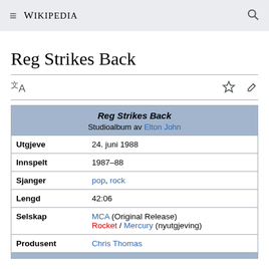≡ WIKIPEDIA 🔍
Reg Strikes Back
| Label | Value |
| --- | --- |
| Reg Strikes Back | Studioalbum av Elton John |
| Utgjeve | 24. juni 1988 |
| Innspelt | 1987–88 |
| Sjanger | pop, rock |
| Lengd | 42:06 |
| Selskap | MCA (Original Release) Rocket / Mercury (nyutgjeving) |
| Produsent | Chris Thomas |